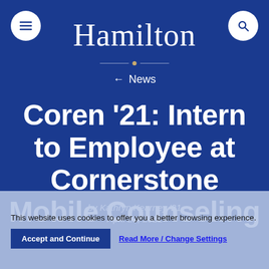Hamilton
← News
Coren '21: Intern to Employee at Cornerstone Mobile Counseling
by Kathryn Kearney '21
April 23, 2021
This website uses cookies to offer you a better browsing experience.
Accept and Continue
Read More / Change Settings